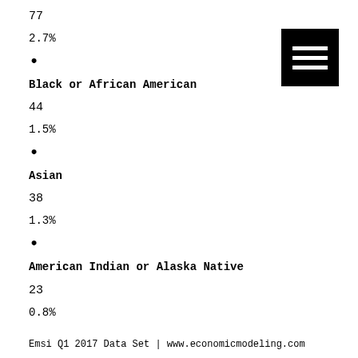77
2.7%
•
Black or African American
44
1.5%
•
Asian
38
1.3%
•
American Indian or Alaska Native
23
0.8%
Emsi Q1 2017 Data Set | www.economicmodeling.com